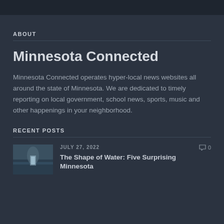ABOUT
Minnesota Connected
Minnesota Connected operates hyper-local news websites all around the state of Minnesota. We are dedicated to timely reporting on local government, school news, sports, music and other happenings in your neighborhood.
RECENT POSTS
[Figure (photo): Waterfall photo thumbnail]
JULY 27, 2022
0
The Shape of Water: Five Surprising Minnesota